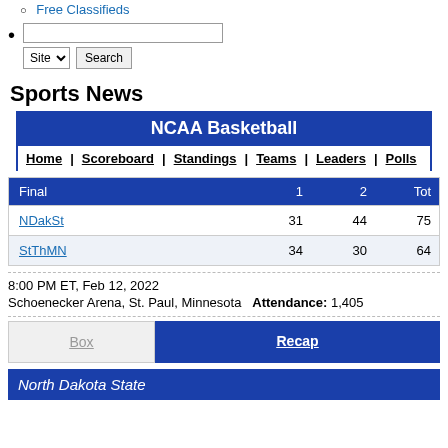Free Classifieds
Site [dropdown] Search [button]
Sports News
| Final | 1 | 2 | Tot |
| --- | --- | --- | --- |
| NDakSt | 31 | 44 | 75 |
| StThMN | 34 | 30 | 64 |
8:00 PM ET, Feb 12, 2022
Schoenecker Arena, St. Paul, Minnesota  Attendance: 1,405
Box | Recap
North Dakota State